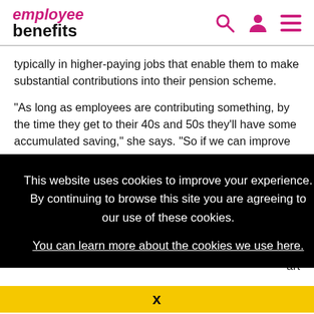employee benefits
typically in higher-paying jobs that enable them to make substantial contributions into their pension scheme.
"As long as employees are contributing something, by the time they get to their 40s and 50s they’ll have some accumulated saving," she says. “So if we can improve [partial text continues behind overlay] rating result
This website uses cookies to improve your experience. By continuing to browse this site you are agreeing to our use of these cookies.
You can learn more about the cookies we use here.
X
, so art
Whatever the content of a financial education